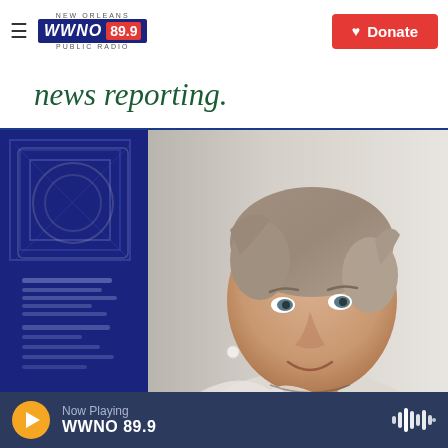WWNO 89.9 NEW ORLEANS PUBLIC RADIO — Donate
news reporting.
[Figure (photo): Close-up photo of a woman with short grey-brown hair, wearing a light jacket and pearl earrings, smiling slightly. A blue decorative panel is visible in the background to the left.]
Now Playing WWNO 89.9